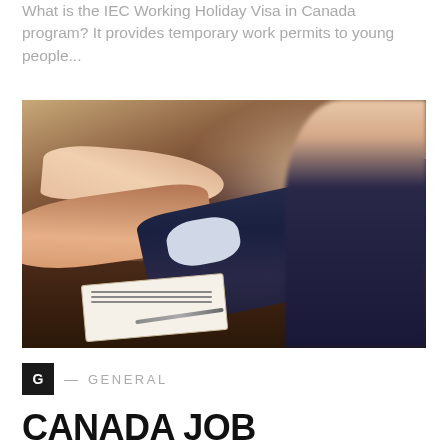What is the IEC Working Holiday Visa in Canada program? It provides temporary work permits to young people...
[Figure (photo): Two people shaking hands across a desk with a clipboard and pen visible, one person wearing a navy suit]
G — GENERAL
CANADA JOB VACANCIES